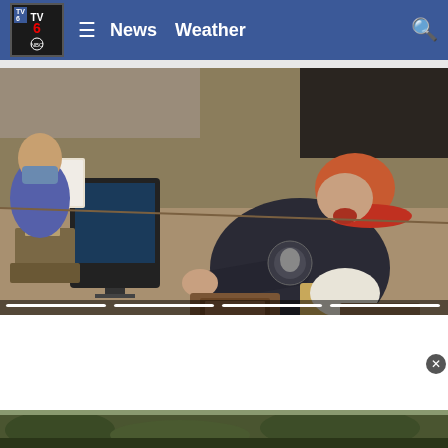TV 6 NBC | News  Weather
[Figure (screenshot): CCTV security camera footage showing overhead view of a store counter. A person in a dark shirt and red cap is leaning over the counter. Items including a computer monitor and boxes are visible on the counter surface.]
[Figure (photo): Advertisement banner for Veterans Choice Contracting LLC. Text reads: QUALITY CONSTRUCTION HONEST SERVICE, ROOFING - SIDING - GUTTERS, CLICK FOR QUOTE]
QUALITY CONSTRUCTION HONEST SERVICE ROOFING · SIDING · GUTTERS CLICK FOR QUOTE